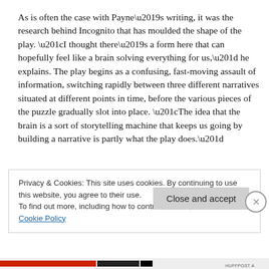As is often the case with Payne’s writing, it was the research behind Incognito that has moulded the shape of the play. “I thought there’s a form here that can hopefully feel like a brain solving everything for us,” he explains. The play begins as a confusing, fast-moving assault of information, switching rapidly between three different narratives situated at different points in time, before the various pieces of the puzzle gradually slot into place. “The idea that the brain is a sort of storytelling machine that keeps us going by building a narrative is partly what the play does.”
Privacy & Cookies: This site uses cookies. By continuing to use this website, you agree to their use.
To find out more, including how to control cookies, see here: Cookie Policy
Close and accept